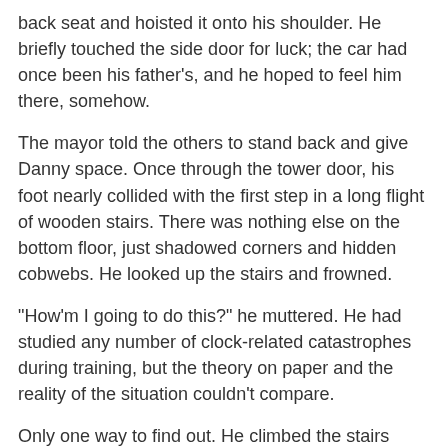back seat and hoisted it onto his shoulder. He briefly touched the side door for luck; the car had once been his father's, and he hoped to feel him there, somehow.
The mayor told the others to stand back and give Danny space. Once through the tower door, his foot nearly collided with the first step in a long flight of wooden stairs. There was nothing else on the bottom floor, just shadowed corners and hidden cobwebs. He looked up the stairs and frowned.
“How’m I going to do this?” he muttered. He had studied any number of clock-related catastrophes during training, but the theory on paper and the reality of the situation couldn’t compare.
Only one way to find out. He climbed the stairs towards the belfry, each creaking step giving birth to small clouds of dust. It smelled of moths and age, the scent of a childhood willingly forgotten. He counted fifty stairs until he reached the bells. They would chime again at the next hour, having already mistakenly announced the hour of three.